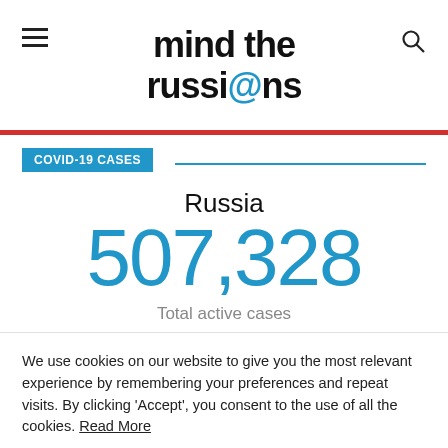mind the russi@ns
COVID-19 CASES
Russia
507,328
Total active cases
We use cookies on our website to give you the most relevant experience by remembering your preferences and repeat visits. By clicking 'Accept', you consent to the use of all the cookies. Read More
Cookie Settings
Accept